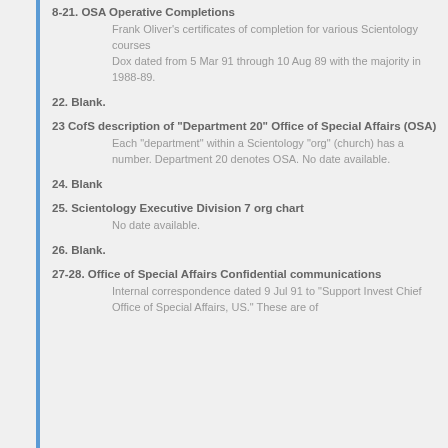8-21. OSA Operative Completions
Frank Oliver's certificates of completion for various Scientology courses
Dox dated from 5 Mar 91 through 10 Aug 89 with the majority in 1988-89.
22. Blank.
23 CofS description of "Department 20" Office of Special Affairs (OSA)
Each "department" within a Scientology "org" (church) has a number. Department 20 denotes OSA. No date available.
24. Blank
25. Scientology Executive Division 7 org chart
No date available.
26. Blank.
27-28. Office of Special Affairs Confidential communications
Internal correspondence dated 9 Jul 91 to "Support Invest Chief Office of Special Affairs, US." These are of